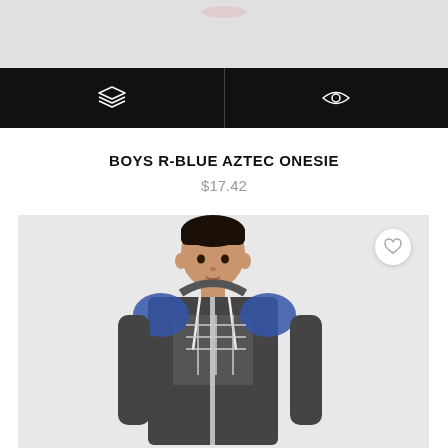[Figure (photo): Top partial product image strip showing light grey background]
[Figure (other): Black navigation bar with two icons: a layers/stack icon on the left and an eye/view icon on the right, separated by a vertical divider]
BOYS R-BLUE AZTEC ONESIE
$17.42
[Figure (photo): Product photo of a boy wearing a dark grey and blue Aztec-patterned zip-up onesie hoodie with white drawstrings, posing against a light grey background. A circular white wishlist/heart button appears in the upper right corner of the image.]